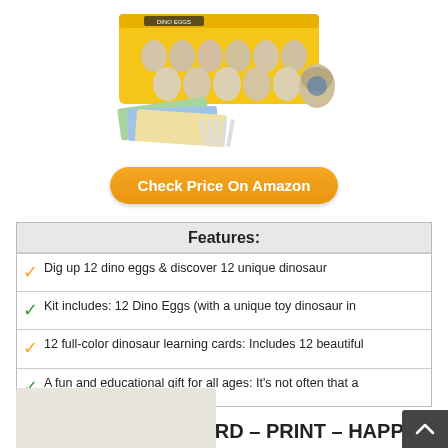[Figure (photo): Product photo of dinosaur egg dig kit — yellow box with multiple dino eggs and excavation tools]
Check Price On Amazon
| Features: |
| --- |
| ✓ Dig up 12 dino eggs & discover 12 unique dinosaur |
| ✓ Kit includes: 12 Dino Eggs (with a unique toy dinosaur in |
| ✓ 12 full-color dinosaur learning cards: Includes 12 beautiful |
| ✓ A fun and educational gift for all ages: It's not often that a |
6. AMAZON GIFT CARD – PRINT – HAPPY EASTER BUNNY